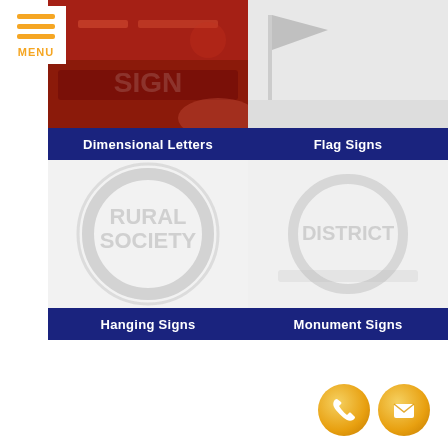[Figure (other): Orange hamburger menu icon with three horizontal bars and MENU label below]
[Figure (photo): Dimensional Letters sign category tile showing a red illuminated sign with 3D letters, labeled Dimensional Letters]
[Figure (photo): Flag Signs category tile with light grey background, labeled Flag Signs]
[Figure (photo): Hanging Signs category tile with Rural Society watermark logo, labeled Hanging Signs]
[Figure (photo): Monument Signs category tile with a watermark logo, labeled Monument Signs]
[Figure (infographic): Two circular orange contact icons: a phone handset icon and an email envelope icon, bottom right corner]